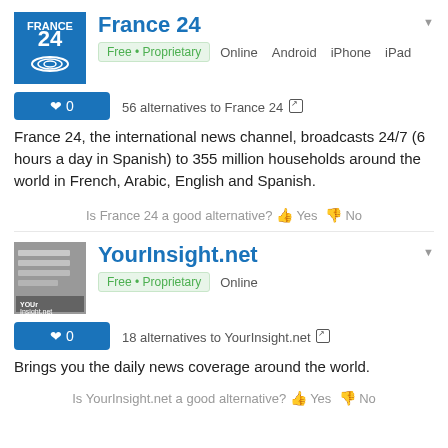France 24
Free • Proprietary  Online  Android  iPhone  iPad
56 alternatives to France 24
France 24, the international news channel, broadcasts 24/7 (6 hours a day in Spanish) to 355 million households around the world in French, Arabic, English and Spanish.
Is France 24 a good alternative? Yes No
YourInsight.net
Free • Proprietary  Online
18 alternatives to YourInsight.net
Brings you the daily news coverage around the world.
Is YourInsight.net a good alternative? Yes No